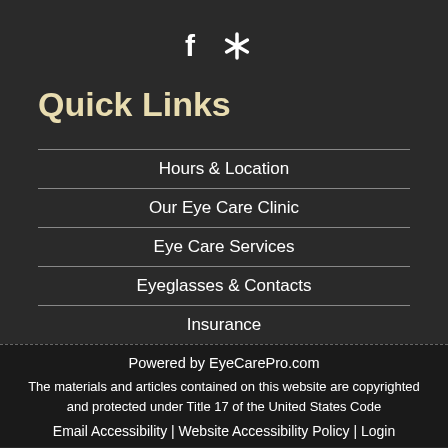[Figure (logo): Social media icons: Facebook and Yelp]
Quick Links
Hours & Location
Our Eye Care Clinic
Eye Care Services
Eyeglasses & Contacts
Insurance
Powered by EyeCarePro.com
The materials and articles contained on this website are copyrighted and protected under Title 17 of the United States Code
Email Accessibility | Website Accessibility Policy | Login